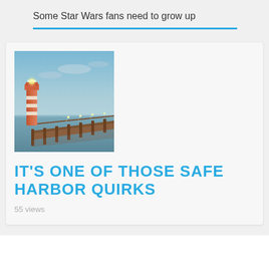Some Star Wars fans need to grow up
[Figure (photo): Lighthouse and wooden pier/dock extending over calm water at dusk with blue sky]
IT'S ONE OF THOSE SAFE HARBOR QUIRKS
55 views